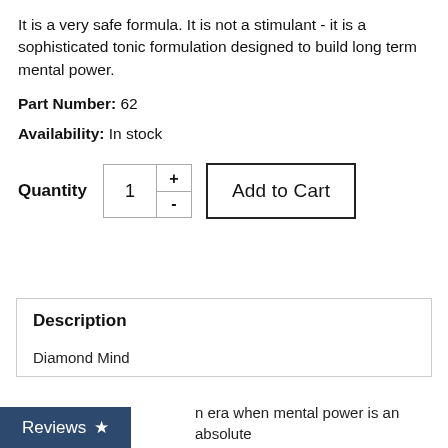It is a very safe formula. It is not a stimulant - it is a sophisticated tonic formulation designed to build long term mental power.
Part Number: 62
Availability: In stock
Quantity  1  +  -  Add to Cart
Description
Diamond Mind
n era when mental power is an absolute
Reviews ★